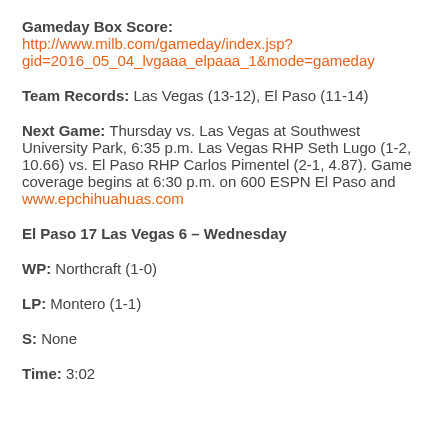Gameday Box Score: http://www.milb.com/gameday/index.jsp?gid=2016_05_04_lvgaaa_elpaaa_1&mode=gameday
Team Records: Las Vegas (13-12), El Paso (11-14)
Next Game: Thursday vs. Las Vegas at Southwest University Park, 6:35 p.m. Las Vegas RHP Seth Lugo (1-2, 10.66) vs. El Paso RHP Carlos Pimentel (2-1, 4.87). Game coverage begins at 6:30 p.m. on 600 ESPN El Paso and www.epchihuahuas.com
El Paso 17 Las Vegas 6 – Wednesday
WP: Northcraft (1-0)
LP: Montero (1-1)
S: None
Time: 3:02